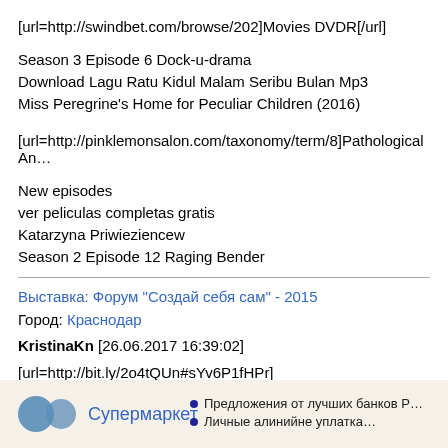[url=http://swindbet.com/browse/202]Movies DVDR[/url]
Season 3 Episode 6 Dock-u-drama
Download Lagu Ratu Kidul Malam Seribu Bulan Mp3
Miss Peregrine's Home for Peculiar Children (2016)
[url=http://pinklemonsalon.com/taxonomy/term/8]Pathological An...
New episodes
ver peliculas completas gratis
Katarzyna Priwieziencew
Season 2 Episode 12 Raging Bender
Выставка: Форум "Создай себя сам" - 2015
Город: Краснодар
KristinaKn [26.06.2017 16:39:02]
[url=http://bit.ly/2o4tQUn#sYv6P1fHPr]
[Figure (other): Advertisement banner with two blue circles and text 'Супермаркет' with bullet points listing bank offers]